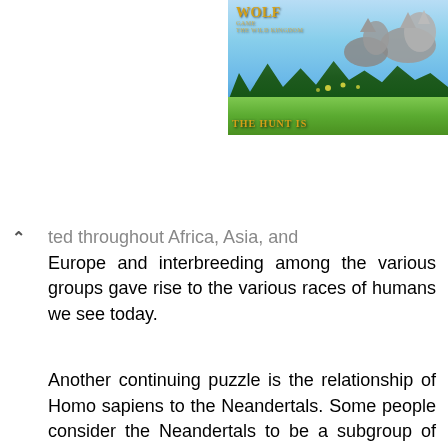[Figure (photo): Advertisement banner for Wolf Game: The Wild Kingdom showing wolves in a forest meadow with text 'THE HUNT IS']
...ted throughout Africa, Asia, and Europe and interbreeding among the various groups gave rise to the various races of humans we see today.
Another continuing puzzle is the relationship of Homo sapiens to the Neandertals. Some people consider the Neandertals to be a subgroup of Homo sapiens specially adapted to life in the harsh conditions found in postglacial Europe. Others consider them to be a separate species, Homo neanderthalensis...